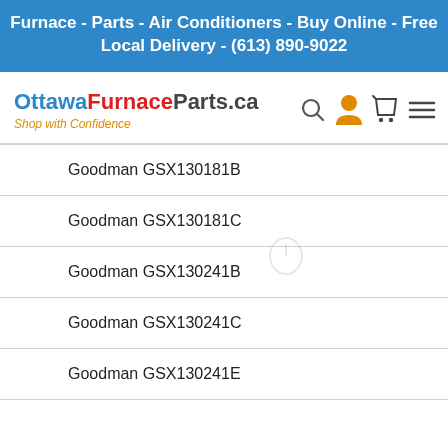Furnace - Parts - Air Conditioners - Buy Online - Free Local Delivery - (613) 890-9022
[Figure (logo): OttawaFurnaceParts.ca logo with tagline 'Shop with Confidence' and mouse icon, plus navigation icons (search, user, cart, menu)]
Goodman GSX130181B
Goodman GSX130181C
Goodman GSX130241B
Goodman GSX130241C
Goodman GSX130241E